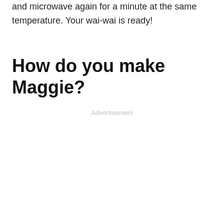and microwave again for a minute at the same temperature. Your wai-wai is ready!
How do you make Maggie?
Advertisement